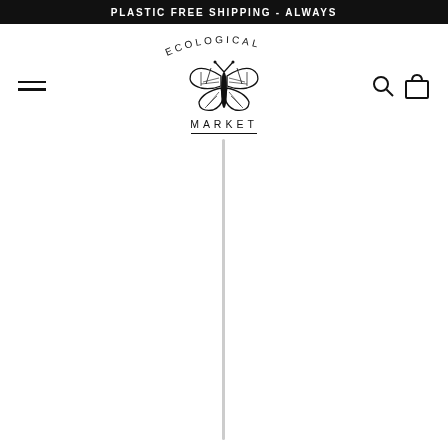PLASTIC FREE SHIPPING - ALWAYS
[Figure (logo): Ecological Market logo with butterfly illustration, text arced 'ECOLOGICAL' on top and 'MARKET' below]
[Figure (other): A thin vertical straw or rod in the lower portion of the page on a white background]